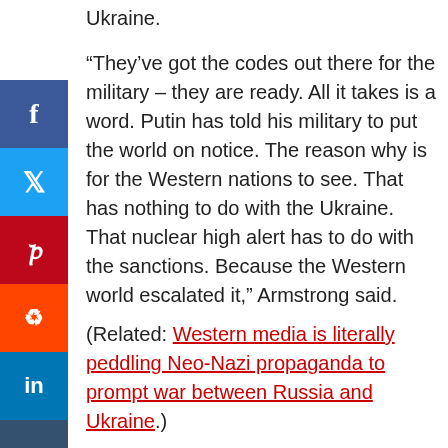Ukraine.
“They’ve got the codes out there for the military – they are ready. All it takes is a word. Putin has told his military to put the world on notice. The reason why is for the Western nations to see. That has nothing to do with the Ukraine. That nuclear high alert has to do with the sanctions. Because the Western world escalated it,” Armstrong said.
(Related: Western media is literally peddling Neo-Nazi propaganda to prompt war between Russia and Ukraine.)
“I’ve been saying for the greater good of humanity: The Ukraine is not worth escalating. But we have many leaders that want to act